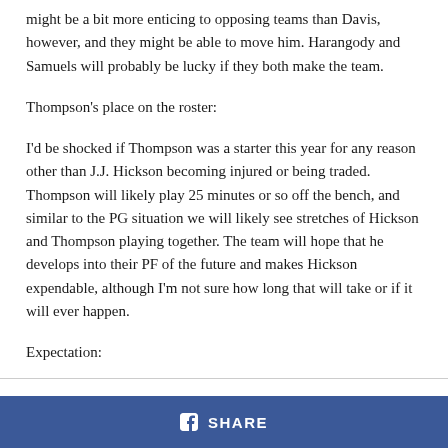might be a bit more enticing to opposing teams than Davis, however, and they might be able to move him. Harangody and Samuels will probably be lucky if they both make the team.
Thompson's place on the roster:
I'd be shocked if Thompson was a starter this year for any reason other than J.J. Hickson becoming injured or being traded. Thompson will likely play 25 minutes or so off the bench, and similar to the PG situation we will likely see stretches of Hickson and Thompson playing together. The team will hope that he develops into their PF of the future and makes Hickson expendable, although I'm not sure how long that will take or if it will ever happen.
Expectation: